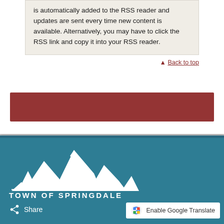is automatically added to the RSS reader and updates are sent every time new content is available. Alternatively, you may have to click the RSS link and copy it into your RSS reader.
▲ Back to top
[Figure (other): Red/brown rectangular banner]
[Figure (logo): Town of Springdale mountain logo with white mountain silhouette on teal background]
TOWN OF SPRINGDALE
Share
Enable Google Translate